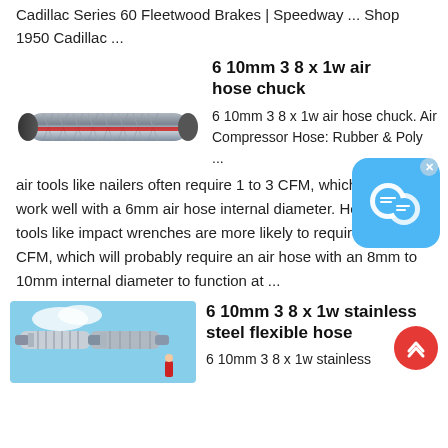Cadillac Series 60 Fleetwood Brakes | Speedway ... Shop 1950 Cadillac ...
6 10mm 3 8 x 1w air hose chuck
[Figure (photo): Gray braided air hose with red stripe, shown horizontally]
6 10mm 3 8 x 1w air hose chuck. Air Compressor Hose: Rubber & Poly ... Hose at Ace ... Hand- air tools like nailers often require 1 to 3 CFM, which should work well with a 6mm air hose internal diameter. Heavy-duty tools like impact wrenches are more likely to require 6-plus CFM, which will probably require an air hose with an 8mm to 10mm internal diameter to function at ...
[Figure (photo): Stainless steel flexible hose with fittings and connectors, industrial setting with blue sky background]
6 10mm 3 8 x 1w stainless steel flexible hose
6 10mm 3 8 x 1w stainless